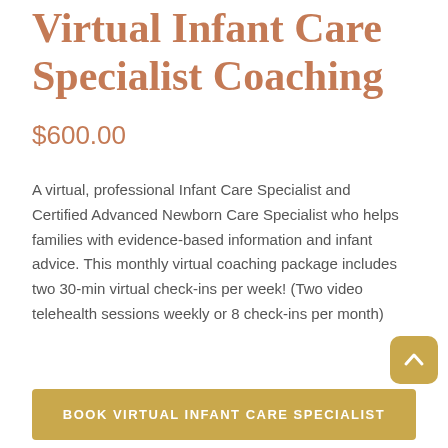Virtual Infant Care Specialist Coaching
$600.00
A virtual, professional Infant Care Specialist and Certified Advanced Newborn Care Specialist who helps families with evidence-based information and infant advice. This monthly virtual coaching package includes two 30-min virtual check-ins per week! (Two video telehealth sessions weekly or 8 check-ins per month)
BOOK VIRTUAL INFANT CARE SPECIALIST